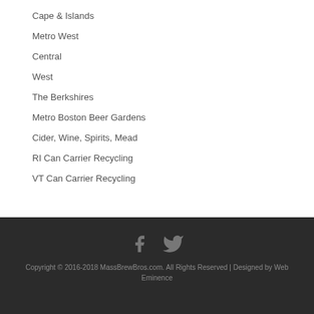Cape & Islands
Metro West
Central
West
The Berkshires
Metro Boston Beer Gardens
Cider, Wine, Spirits, Mead
RI Can Carrier Recycling
VT Can Carrier Recycling
Copyright © 2016-2018 MassBrewBros.com. All Rights Reserved | Designed by Web Eminence